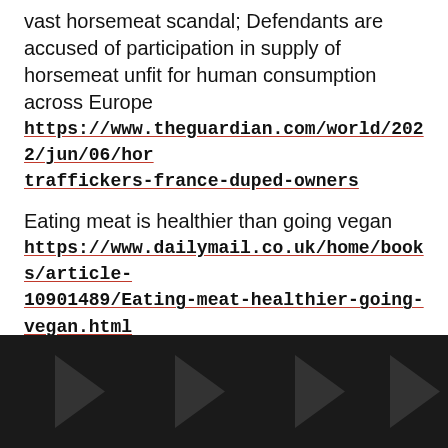vast horsemeat scandal; Defendants are accused of participation in supply of horsemeat unfit for human consumption across Europe
https://www.theguardian.com/world/2022/jun/06/horsemeat-traffickers-france-duped-owners
Eating meat is healthier than going vegan
https://www.dailymail.co.uk/home/books/article-10901489/Eating-meat-healthier-going-vegan.html
Rhode Island launches 1st human donor pasteurized milk program to combat baby formula shortage
https://nypost.com/2022/06/11/rhode-island-launches-1st-human-donor-milk-program-to-combat-baby-formula-shortage/
[Figure (other): Dark background footer area with rightward-pointing chevron/arrow shapes in dark gray]